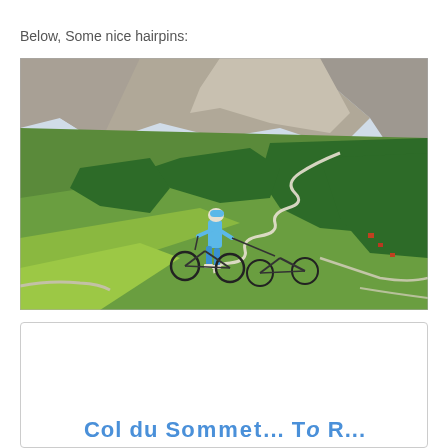Below, Some nice hairpins:
[Figure (photo): A cyclist in blue kit standing with two road bikes on a mountain road, with a sweeping aerial view of alpine hairpin switchbacks winding through green meadows and forest below.]
[Figure (other): Partial view of a white card/box with blue text title beginning to appear at the bottom of the page.]